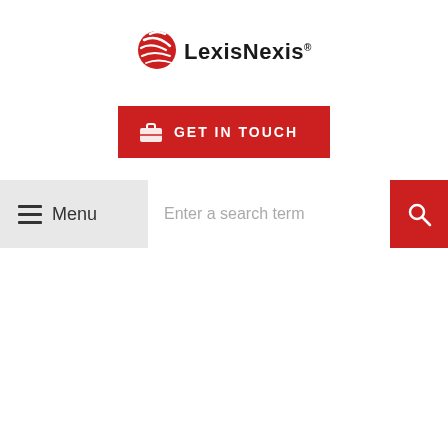[Figure (logo): LexisNexis logo with red globe/swoosh icon and bold LexisNexis text]
[Figure (other): Red GET IN TOUCH button with briefcase/phone icon]
[Figure (screenshot): Navigation bar with hamburger Menu icon on left and search bar with red search button on right. Search bar placeholder reads 'Enter a search term']